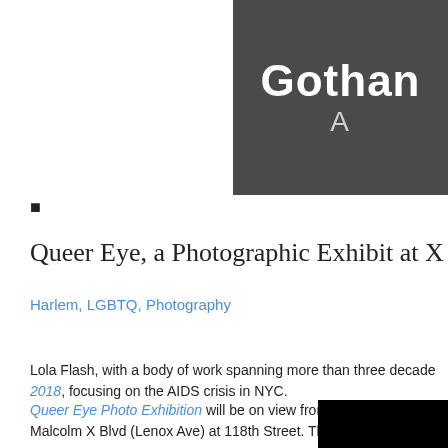[Figure (logo): Gotham Arts logo on dark gray background with large white bold text 'Gotham' and lighter text 'A' below]
■
Queer Eye, a Photographic Exhibit at X Gall…
Harlem, LGBTQ, Photography
Lola Flash, with a body of work spanning more than three decades… 2018, focusing on the AIDS crisis in NYC.
Queer Eye Photo Exhibition will be on view from June 1st to June… Malcolm X Blvd (Lenox Ave) at 118th Street. The opening is Free…
[Figure (other): Black rectangle at bottom right corner]